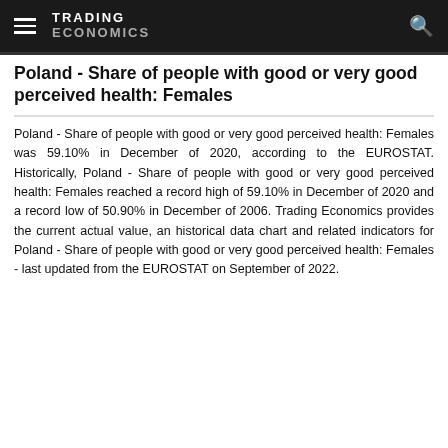TRADING ECONOMICS
Poland - Share of people with good or very good perceived health: Females
Poland - Share of people with good or very good perceived health: Females was 59.10% in December of 2020, according to the EUROSTAT. Historically, Poland - Share of people with good or very good perceived health: Females reached a record high of 59.10% in December of 2020 and a record low of 50.90% in December of 2006. Trading Economics provides the current actual value, an historical data chart and related indicators for Poland - Share of people with good or very good perceived health: Females - last updated from the EUROSTAT on September of 2022.